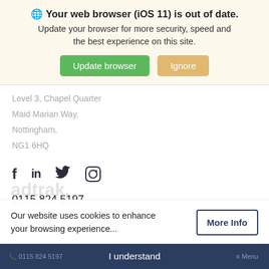🌐 Your web browser (iOS 11) is out of date. Update your browser for more security, speed and the best experience on this site.
Update browser | Ignore
Level 3, Chapel Quarter
Maid Marian Way,
Nottingham,
NG1 6HQ
[Figure (infographic): Social media icons: Facebook (f), LinkedIn (in), Twitter (bird), Instagram (camera)]
0115 824 5197
hello@adtrak.co.uk
Our website uses cookies to enhance your browsing experience...
More Info
adtrak.
I understand
📞 0115 824 5197    ≡ Menu